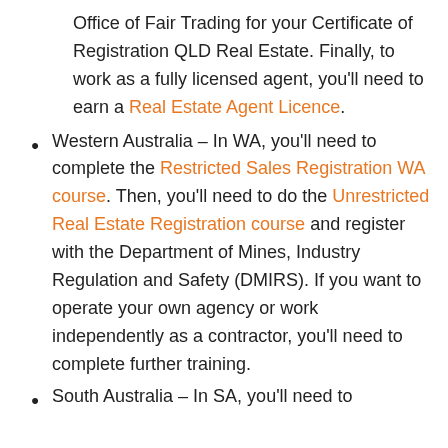Office of Fair Trading for your Certificate of Registration QLD Real Estate. Finally, to work as a fully licensed agent, you'll need to earn a Real Estate Agent Licence.
Western Australia – In WA, you'll need to complete the Restricted Sales Registration WA course. Then, you'll need to do the Unrestricted Real Estate Registration course and register with the Department of Mines, Industry Regulation and Safety (DMIRS). If you want to operate your own agency or work independently as a contractor, you'll need to complete further training.
South Australia – In SA, you'll need to